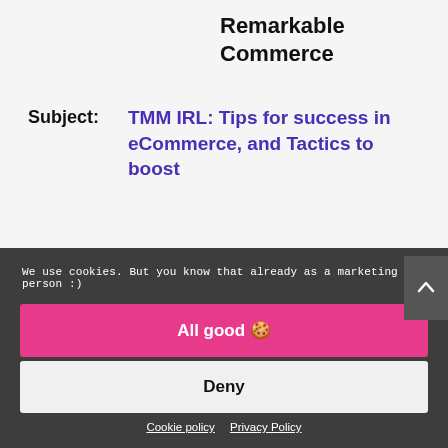Remarkable Commerce
Subject:
TMM IRL: Tips for success in eCommerce, and Tactics to boost
We use cookies. But you know that already as a marketing person :)
All good 🍪
Deny
Cookie policy   Privacy Policy